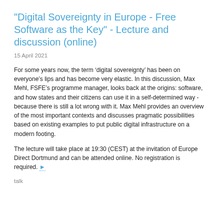"Digital Sovereignty in Europe - Free Software as the Key" - Lecture and discussion (online)
15 April 2021
For some years now, the term ‘digital sovereignty’ has been on everyone’s lips and has become very elastic. In this discussion, Max Mehl, FSFE’s programme manager, looks back at the origins: software, and how states and their citizens can use it in a self-determined way - because there is still a lot wrong with it. Max Mehl provides an overview of the most important contexts and discusses pragmatic possibilities based on existing examples to put public digital infrastructure on a modern footing.
The lecture will take place at 19:30 (CEST) at the invitation of Europe Direct Dortmund and can be attended online. No registration is required. ►
talk